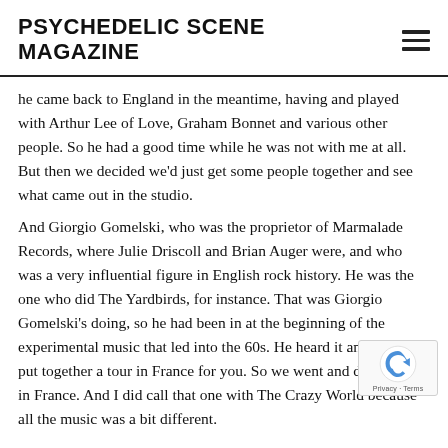PSYCHEDELIC SCENE MAGAZINE
he came back to England in the meantime, having and played with Arthur Lee of Love, Graham Bonnet and various other people. So he had a good time while he was not with me at all. But then we decided we'd just get some people together and see what came out in the studio.
And Giorgio Gomelski, who was the proprietor of Marmalade Records, where Julie Driscoll and Brian Auger were, and who was a very influential figure in English rock history. He was the one who did The Yardbirds, for instance. That was Giorgio Gomelski's doing, so he had been in at the beginning of the experimental music that led into the 60s. He heard it and said, I'll put together a tour in France for you. So we went and did the tour in France. And I did call that one with The Crazy World because all the music was a bit different.
We did for the sake of the tour– so that the audience wou…